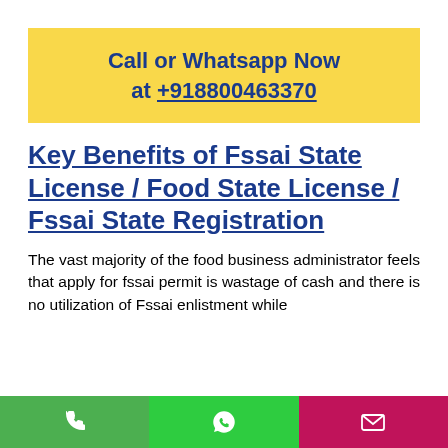Call or Whatsapp Now at +918800463370
Key Benefits of Fssai State License / Food State License / Fssai State Registration
The vast majority of the food business administrator feels that apply for fssai permit is wastage of cash and there is no utilization of Fssai enlistment while
[Figure (infographic): Bottom navigation bar with three buttons: phone (green), WhatsApp (green), and email (magenta/pink)]